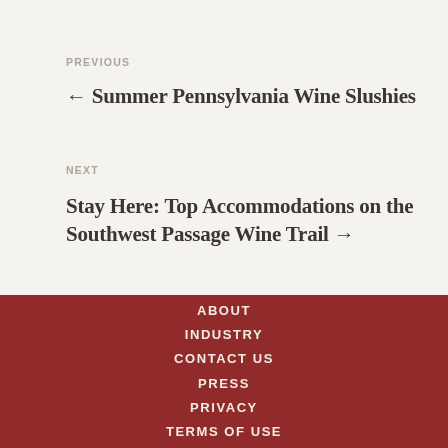PREVIOUS
← Summer Pennsylvania Wine Slushies
NEXT
Stay Here: Top Accommodations on the Southwest Passage Wine Trail →
ABOUT
INDUSTRY
CONTACT US
PRESS
PRIVACY
TERMS OF USE